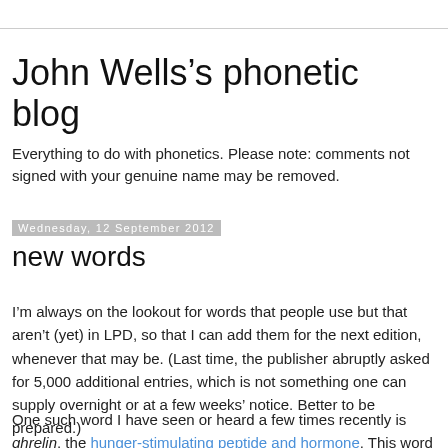John Wells's phonetic blog
Everything to do with phonetics. Please note: comments not signed with your genuine name may be removed.
Wednesday, 12 September 2012
new words
I'm always on the lookout for words that people use but that aren't (yet) in LPD, so that I can add them for the next edition, whenever that may be. (Last time, the publisher abruptly asked for 5,000 additional entries, which is not something one can supply overnight or at a few weeks' notice. Better to be prepared.)
One such word I have seen or heard a few times recently is ghrelin, the hunger-stimulating peptide and hormone. This word has not yet